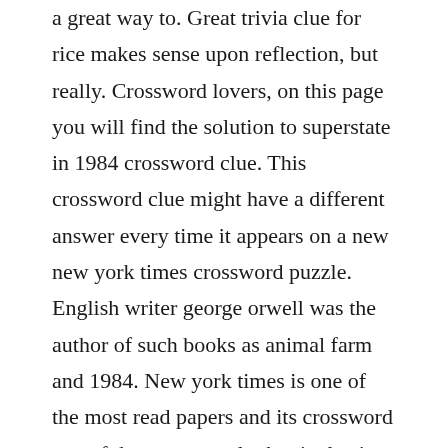a great way to. Great trivia clue for rice makes sense upon reflection, but really. Crossword lovers, on this page you will find the solution to superstate in 1984 crossword clue. This crossword clue might have a different answer every time it appears on a new new york times crossword puzzle. English writer george orwell was the author of such books as animal farm and 1984. New york times is one of the most read papers and its crossword one of the most popular but it also is very challenging so sometimes some help is needed on this page you will find the solution to 1984 superstate